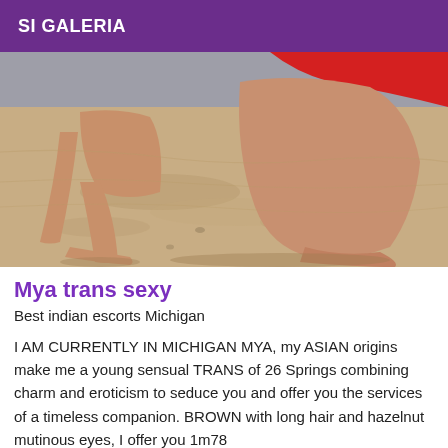SI GALERIA
[Figure (photo): Photo of a person kneeling on sand at a beach, wearing a red swimsuit, showing legs and lower body against a sandy beach background.]
Mya trans sexy
Best indian escorts Michigan
I AM CURRENTLY IN MICHIGAN MYA, my ASIAN origins make me a young sensual TRANS of 26 Springs combining charm and eroticism to seduce you and offer you the services of a timeless companion. BROWN with long hair and hazelnut mutinous eyes, I offer you 1m78